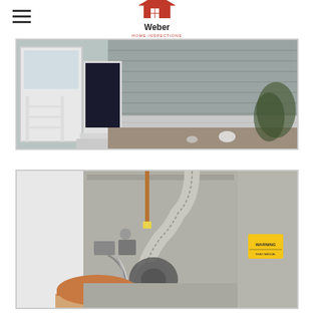[Figure (logo): Weber Home Inspections logo with house icon]
[Figure (photo): Exterior photo of a house showing a white storm door open, concrete steps, gray horizontal siding, and a rock/mulch landscape bed along the foundation]
[Figure (photo): Interior photo of a home inspector (head visible at bottom) examining an open furnace unit showing internal components including a flexible duct, copper pipe, blower motor, wiring, and warning label]